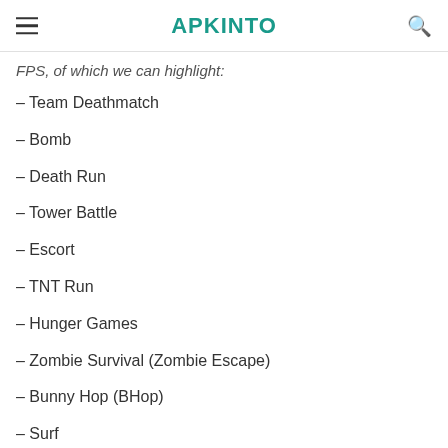APKINTO
FPS, of which we can highlight:
– Team Deathmatch
– Bomb
– Death Run
– Tower Battle
– Escort
– TNT Run
– Hunger Games
– Zombie Survival (Zombie Escape)
– Bunny Hop (BHop)
– Surf